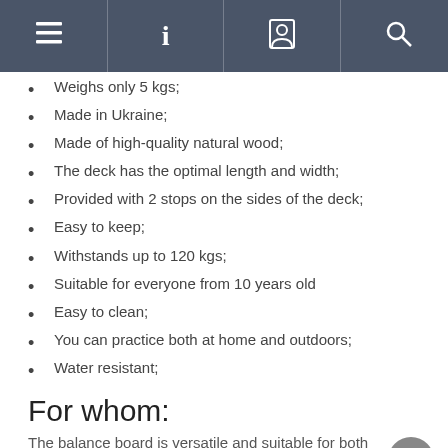Navigation bar with menu, info, profile, and search icons
Weighs only 5 kgs;
Made in Ukraine;
Made of high-quality natural wood;
The deck has the optimal length and width;
Provided with 2 stops on the sides of the deck;
Easy to keep;
Withstands up to 120 kgs;
Suitable for everyone from 10 years old
Easy to clean;
You can practice both at home and outdoors;
Water resistant;
For whom:
The balance board is versatile and suitable for both professional athletes and boarders and beginners.